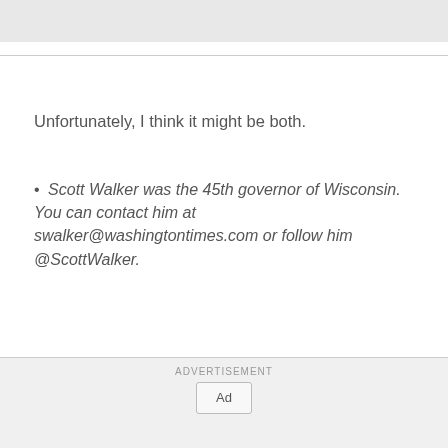Unfortunately, I think it might be both.
• Scott Walker was the 45th governor of Wisconsin. You can contact him at swalker@washingtontimes.com or follow him @ScottWalker.
Copyright © 2022 The Washington Times, LLC. Click here for reprint permission.
ADVERTISEMENT Ad